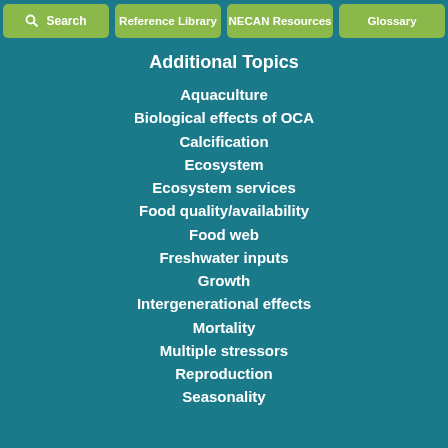Search | Reference Library | NECAN Resources | Glossary
Additional Topics
Aquaculture
Biological effects of OCA
Calcification
Ecosystem
Ecosystem services
Food quality/availability
Food web
Freshwater inputs
Growth
Intergenerational effects
Mortality
Multiple stressors
Reproduction
Seasonality